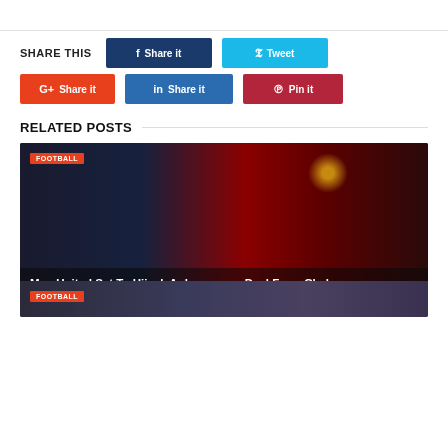SHARE THIS
Share it (Facebook) | Tweet (Twitter) | Share it (Google+) | Share it (LinkedIn) | Pin it (Pinterest)
RELATED POSTS
[Figure (photo): Football article card showing Man United manager and Aubameyang; headline: Man United Set To Hijack Aubameyang Deal From Chelsea; date: August 27, 2022; tag: FOOTBALL]
[Figure (photo): Second football article card with FOOTBALL tag, partially visible at bottom]